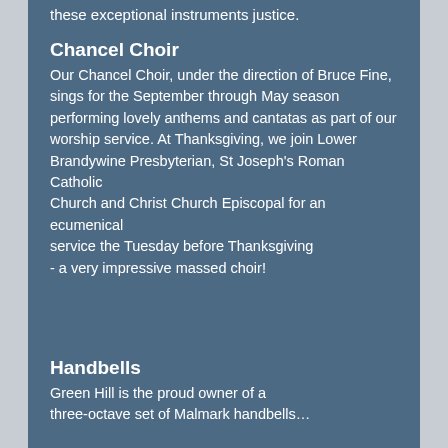these exceptional instruments justice.
Chancel Choir
Our Chancel Choir, under the direction of Bruce Fine, sings for the September through May season performing lovely anthems and cantatas as part of our worship service. At Thanksgiving, we join Lower Brandywine Presbyterian, St Joseph's Roman Catholic Church and Christ Church Episcopal for an ecumenical service the Tuesday before Thanksgiving - a very impressive massed choir!
Handbells
Green Hill is the proud owner of a three-octave set of Malmark handbells...